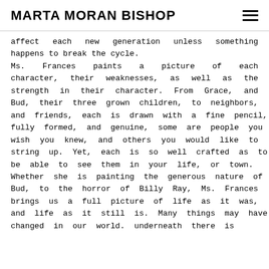MARTA MORAN BISHOP
affect each new generation unless something happens to break the cycle.
Ms. Frances paints a picture of each character, their weaknesses, as well as the strength in their character. From Grace, and Bud, their three grown children, to neighbors, and friends, each is drawn with a fine pencil, fully formed, and genuine, some are people you wish you knew, and others you would like to string up. Yet, each is so well crafted as to be able to see them in your life, or town.
Whether she is painting the generous nature of Bud, to the horror of Billy Ray, Ms. Frances brings us a full picture of life as it was, and life as it still is. Many things may have changed in our world. underneath there is